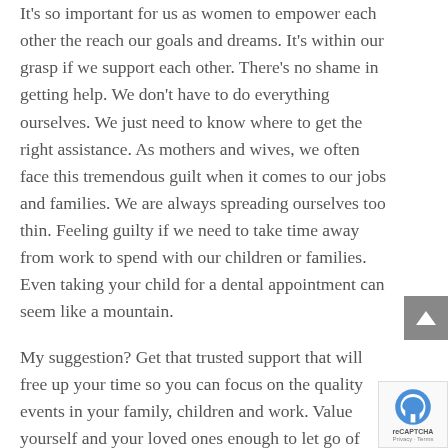It's so important for us as women to empower each other the reach our goals and dreams. It's within our grasp if we support each other. There's no shame in getting help. We don't have to do everything ourselves. We just need to know where to get the right assistance. As mothers and wives, we often face this tremendous guilt when it comes to our jobs and families. We are always spreading ourselves too thin. Feeling guilty if we need to take time away from work to spend with our children or families. Even taking your child for a dental appointment can seem like a mountain.
My suggestion? Get that trusted support that will free up your time so you can focus on the quality events in your family, children and work. Value yourself and your loved ones enough to let go of some things.
Let's celebrate each other's strengths and support